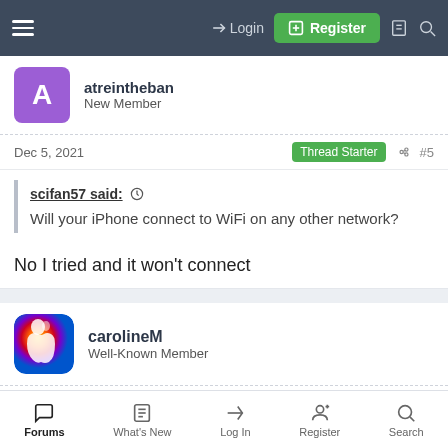Login | Register
atreintheban
New Member
Dec 5, 2021  Thread Starter  #5
scifan57 said:
Will your iPhone connect to WiFi on any other network?
No I tried and it won't connect
carolineM
Well-Known Member
Dec 5, 2021  #6
Forums  What's New  Log In  Register  Search